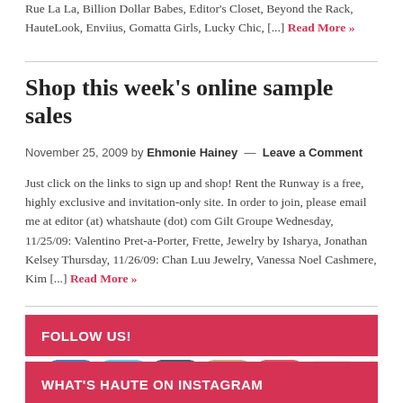Rue La La, Billion Dollar Babes, Editor's Closet, Beyond the Rack, HauteLook, Enviius, Gomatta Girls, Lucky Chic, [...] Read More »
Shop this week's online sample sales
November 25, 2009 by Ehmonie Hainey — Leave a Comment
Just click on the links to sign up and shop! Rent the Runway is a free, highly exclusive and invitation-only site. In order to join, please email me at editor (at) whatshaute (dot) com Gilt Groupe Wednesday, 11/25/09: Valentino Pret-a-Porter, Frette, Jewelry by Isharya, Jonathan Kelsey Thursday, 11/26/09: Chan Luu Jewelry, Vanessa Noel Cashmere, Kim [...] Read More »
FOLLOW US!
[Figure (infographic): Social media icons row: Facebook, Twitter, Tumblr, Instagram, Pinterest, YouTube]
WHAT'S HAUTE ON INSTAGRAM